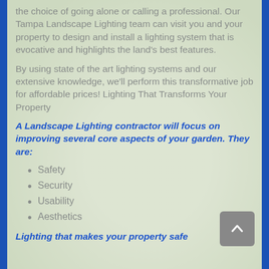the choice of going alone or calling a professional. Our Tampa Landscape Lighting team can visit you and your property to design and install a lighting system that is evocative and highlights the land's best features.
By using state of the art lighting systems and our extensive knowledge, we'll perform this transformative job for affordable prices! Lighting That Transforms Your Property
A Landscape Lighting contractor will focus on improving several core aspects of your garden. They are:
Safety
Security
Usability
Aesthetics
Lighting that makes your property safe